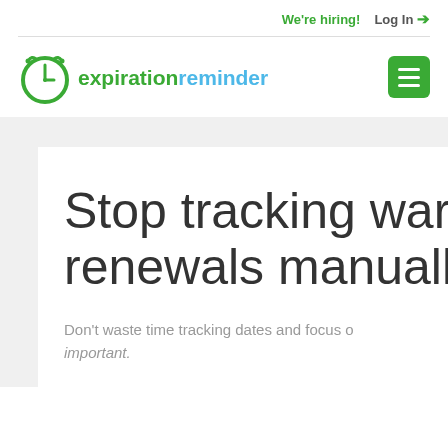We're hiring!   Log In →
[Figure (logo): Expiration Reminder logo: green clock icon with text 'expirationreminder' in green and blue]
Stop tracking war renewals manuall
Don't waste time tracking dates and focus on what's important.